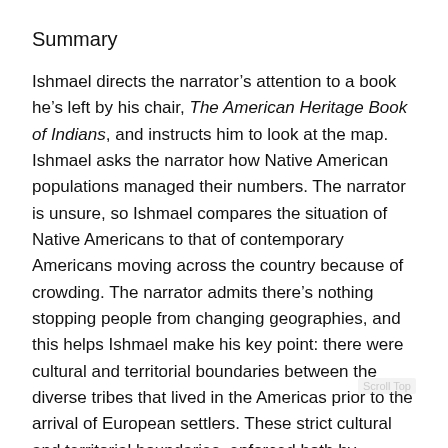Summary
Ishmael directs the narrator’s attention to a book he’s left by his chair, The American Heritage Book of Indians, and instructs him to look at the map. Ishmael asks the narrator how Native American populations managed their numbers. The narrator is unsure, so Ishmael compares the situation of Native Americans to that of contemporary Americans moving across the country because of crowding. The narrator admits there’s nothing stopping people from changing geographies, and this helps Ishmael make his key point: there were cultural and territorial boundaries between the diverse tribes that lived in the Americas prior to the arrival of European settlers. These strict cultural and territorial boundaries, enforced both by customs and violence when necessary, restricted populations to manageable sizes and allowed all tribes to coexist more or less peaceably.